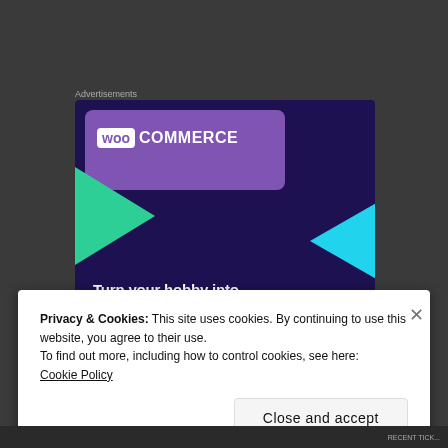Advertisements
[Figure (illustration): WooCommerce advertisement banner with dark purple background, WooCommerce logo at top, green and cyan triangle decorative elements, and text 'Turn your hobby into a business in 8 steps']
Privacy & Cookies: This site uses cookies. By continuing to use this website, you agree to their use.
To find out more, including how to control cookies, see here: Cookie Policy
Close and accept